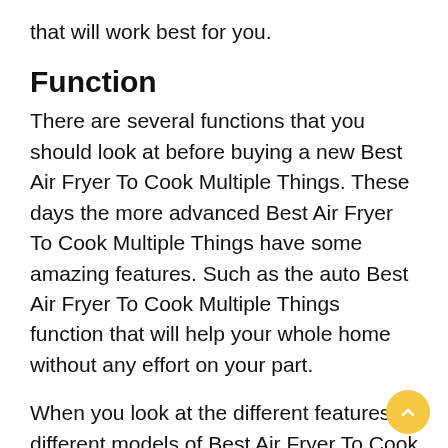that will work best for you.
Function
There are several functions that you should look at before buying a new Best Air Fryer To Cook Multiple Things. These days the more advanced Best Air Fryer To Cook Multiple Things have some amazing features. Such as the auto Best Air Fryer To Cook Multiple Things function that will help your whole home without any effort on your part.
When you look at the different features of different models of Best Air Fryer To Cook Multiple Things you will find that there are